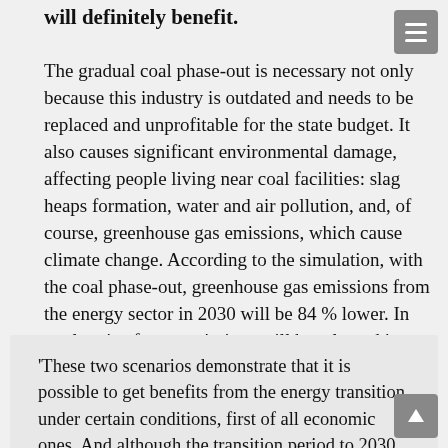will definitely benefit.
The gradual coal phase-out is necessary not only because this industry is outdated and needs to be replaced and unprofitable for the state budget. It also causes significant environmental damage, affecting people living near coal facilities: slag heaps formation, water and air pollution, and, of course, greenhouse gas emissions, which cause climate change. According to the simulation, with the coal phase-out, greenhouse gas emissions from the energy sector in 2030 will be 84 % lower. In total, twice fewer emissions will be released into the atmosphere during this period than in the BAU scenario.
'These two scenarios demonstrate that it is possible to get benefits from the energy transition under certain conditions, first of all economic ones. And although the transition period to 2030 remains...